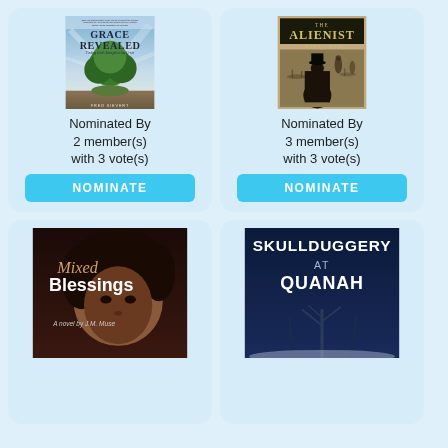[Figure (illustration): Book cover: Grace Revealed - Finding God's Strength in Any Crisis by Fred Sievert. Shows a green tree on a landscape with dramatic sky.]
Nominated By 2 member(s) with 3 vote(s)
NOMINATE
[Figure (illustration): Book cover: The Alienist by Caleb Carr. Dark sepia toned cover with a figure in period costume.]
Nominated By 3 member(s) with 3 vote(s)
NOMINATE
[Figure (illustration): Book cover: Mixed Blessings - A novel by J.M. Muse. Shows a woman's face with natural hair.]
[Figure (illustration): Book cover: Skullduggery at Quanah. Dark blue cover with white text.]